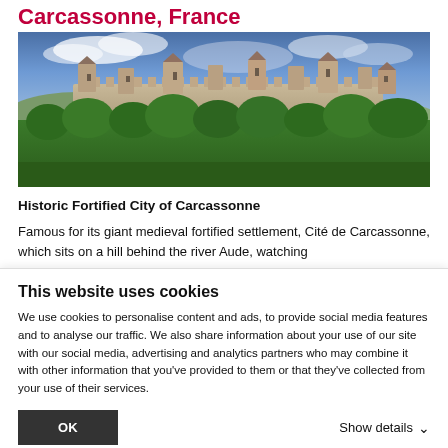Carcassonne, France
[Figure (photo): Panoramic photograph of the medieval fortified city of Carcassonne, France, showing stone castle walls and towers on a hilltop surrounded by green trees under a dramatic cloudy blue sky.]
Historic Fortified City  of Carcassonne
Famous for its giant medieval fortified settlement, Cité de Carcassonne, which sits on a hill behind the river Aude, watching
This website uses cookies
We use cookies to personalise content and ads, to provide social media features and to analyse our traffic. We also share information about your use of our site with our social media, advertising and analytics partners who may combine it with other information that you've provided to them or that they've collected from your use of their services.